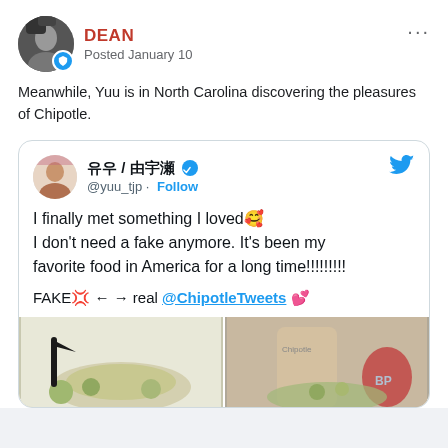DEAN
Posted January 10
Meanwhile, Yuu is in North Carolina discovering the pleasures of Chipotle.
[Figure (screenshot): Embedded tweet from @yuu_tjp with text: I finally met something I loved 🥰 I don't need a fake anymore. It's been my favorite food in America for a long time!!!!!!!!! FAKE 💢 ← → real @ChipotleTweets 💕 with two food photos below.]